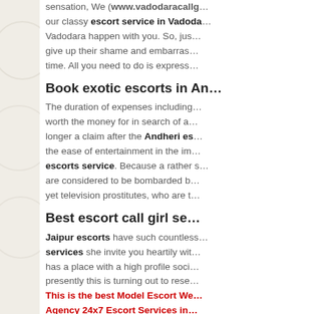sensation, We (www.vadodaracallg... our classy escort service in Vadoda... Vadodara happen with you. So, jus... give up their shame and embarras... time. All you need to do is express...
Book exotic escorts in An...
The duration of expenses including... worth the money for in search of a... longer a claim after the Andheri es... the ease of entertainment in the im... escorts service. Because a rather s... are considered to be bombarded b... yet television prostitutes, who are f...
Best escort call girl se...
Jaipur escorts have such countless... services she invite you heartily wit... has a place with a high profile soci... presently this is turning out to rese...
This is the best Model Escort We... Agency 24x7 Escort Services in...
Best Escort Services Sites in J... service , Jaipur escorts agency , ... Jaipur escort service , Jaipur esc...